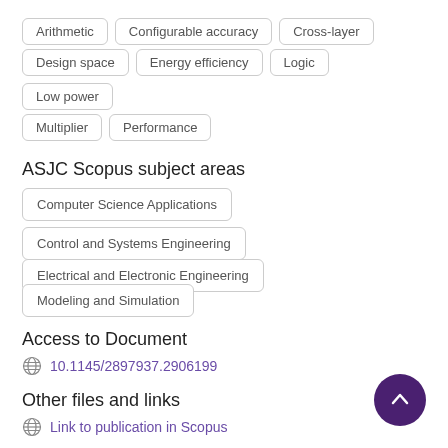Arithmetic
Configurable accuracy
Cross-layer
Design space
Energy efficiency
Logic
Low power
Multiplier
Performance
ASJC Scopus subject areas
Computer Science Applications
Control and Systems Engineering
Electrical and Electronic Engineering
Modeling and Simulation
Access to Document
10.1145/2897937.2906199
Other files and links
Link to publication in Scopus